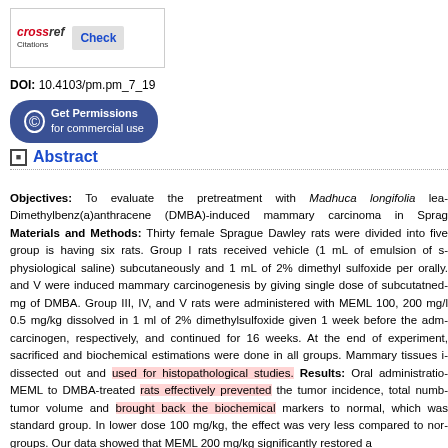[Figure (logo): CrossRef Check Citations logo with border box]
DOI: 10.4103/pm.pm_7_19
[Figure (other): Get Permissions for commercial use button]
Abstract
Objectives: To evaluate the pretreatment with Madhuca longifolia lea... Dimethylbenz(a)anthracene (DMBA)-induced mammary carcinoma in Sprag... Materials and Methods: Thirty female Sprague Dawley rats were divided into five group is having six rats. Group I rats received vehicle (1 mL of emulsion of s... physiological saline) subcutaneously and 1 mL of 2% dimethyl sulfoxide per orally... and V were induced mammary carcinogenesis by giving single dose of subcutaneo... mg of DMBA. Group III, IV, and V rats were administered with MEML 100, 200 mg/l 0.5 mg/kg dissolved in 1 ml of 2% dimethylsulfoxide given 1 week before the adm carcinogen, respectively, and continued for 16 weeks. At the end of experiment, sacrificed and biochemical estimations were done in all groups. Mammary tissues i dissected out and used for histopathological studies. Results: Oral administration MEML to DMBA-treated rats effectively prevented the tumor incidence, total numb tumor volume and brought back the biochemical markers to normal, which was standard group. In lower dose 100 mg/kg, the effect was very less compared to nor groups. Our data showed that MEML 200 mg/kg significantly restored a